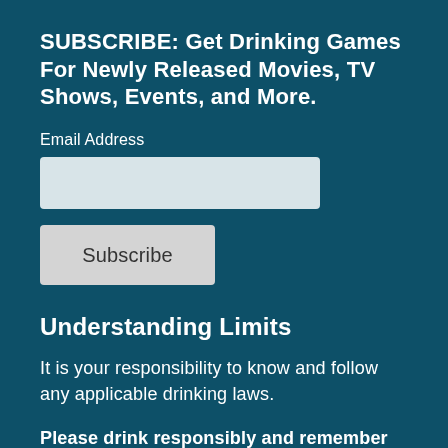SUBSCRIBE: Get Drinking Games For Newly Released Movies, TV Shows, Events, and More.
Email Address
Subscribe
Understanding Limits
It is your responsibility to know and follow any applicable drinking laws.
Please drink responsibly and remember that any game can also be played with non-alcoholic beverages too. What a way to hydrate!